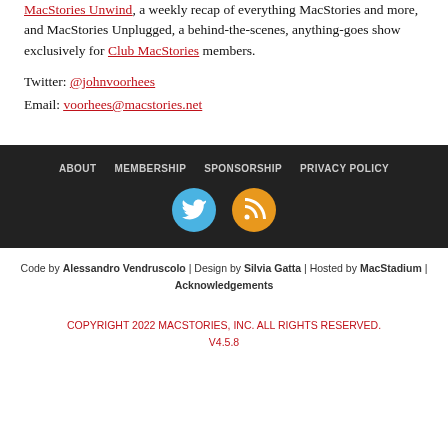MacStories Unwind, a weekly recap of everything MacStories and more, and MacStories Unplugged, a behind-the-scenes, anything-goes show exclusively for Club MacStories members.
Twitter: @johnvoorhees
Email: voorhees@macstories.net
ABOUT  MEMBERSHIP  SPONSORSHIP  PRIVACY POLICY
[Figure (other): Twitter bird icon (blue circle) and RSS feed icon (orange circle)]
Code by Alessandro Vendruscolo | Design by Silvia Gatta | Hosted by MacStadium | Acknowledgements
COPYRIGHT 2022 MACSTORIES, INC. ALL RIGHTS RESERVED.
V4.5.8